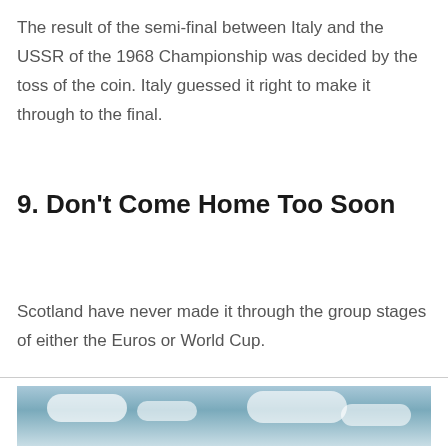The result of the semi-final between Italy and the USSR of the 1968 Championship was decided by the toss of the coin. Italy guessed it right to make it through to the final.
9. Don't Come Home Too Soon
Scotland have never made it through the group stages of either the Euros or World Cup.
[Figure (photo): Partial view of a sky with clouds, blue tones, appearing at the bottom of the page.]